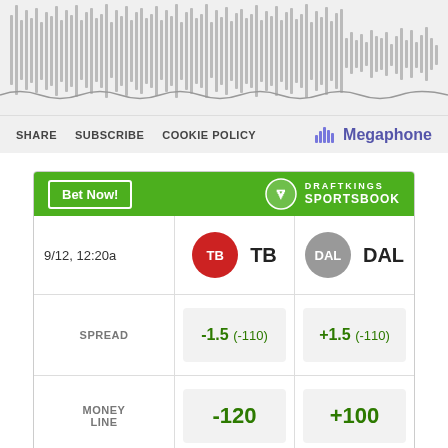[Figure (other): Audio waveform visualization showing sound wave pattern on gray background]
SHARE  SUBSCRIBE  COOKIE POLICY  |  Megaphone
|  | TB | DAL |
| --- | --- | --- |
| 9/12, 12:20a | TB | DAL |
| SPREAD | -1.5  (-110) | +1.5  (-110) |
| MONEY LINE | -120 | +100 |
| OVER UNDER | > 50.5  (-110)  / < 50.5  (-110) |  |
Odds/Lines subject to change. See draftkings.com for details.